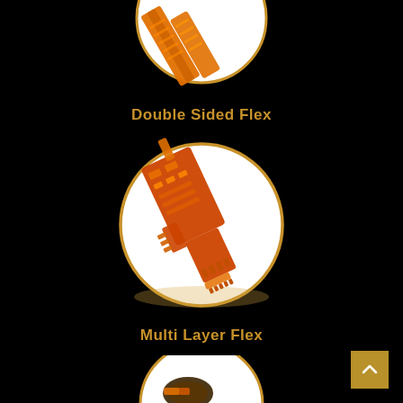[Figure (photo): Partial view of orange flexible PCB circuit board displayed on a white circular platform with gold border (Double Sided Flex) — cropped at top of page]
Double Sided Flex
[Figure (photo): Orange multi-layer flexible printed circuit board (PCB) displayed on a white circular platform with gold border — Multi Layer Flex product]
Multi Layer Flex
[Figure (photo): Partial view of a small round flexible circuit component on a white circular platform — cropped at bottom of page]